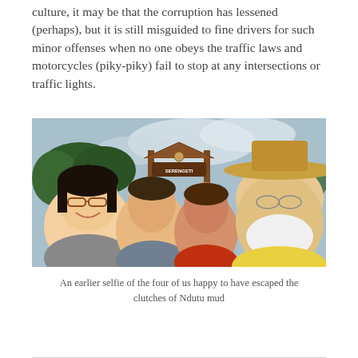culture, it may be that the corruption has lessened (perhaps), but it is still misguided to fine drivers for such minor offenses when no one obeys the traffic laws and motorcycles (piky-piky) fail to stop at any intersections or traffic lights.
[Figure (photo): A selfie photo of four people smiling in front of a sign (appears to read 'SERENGETI' or similar). The group includes a young Asian woman with glasses, a woman in a grey top, a young man in a red shirt, and an older man with a white beard wearing a wide-brimmed hat and yellow shirt. Trees and cloudy sky visible in background.]
An earlier selfie of the four of us happy to have escaped the clutches of Ndutu mud